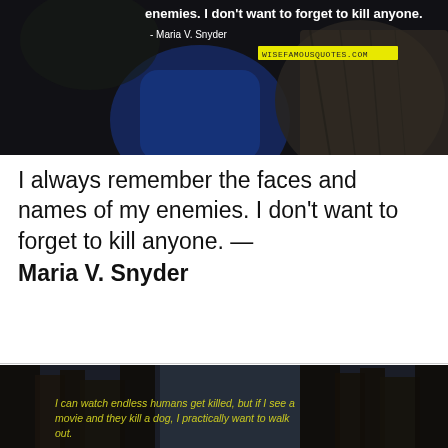[Figure (photo): Dark atmospheric photo with a person in a blue hoodie and large mushroom or tree structure; overlaid white text reads 'enemies. I don't want to forget to kill anyone.' with attribution '- Maria V. Snyder' and a yellow watermark 'wisefamousquotes.com']
I always remember the faces and names of my enemies. I don't want to forget to kill anyone. — Maria V. Snyder
[Figure (photo): Dark photo of city buildings/skyscrapers at dusk with yellow italic text: 'I can watch endless humans get killed, but if I see a movie and they kill a dog, I practically want to walk out.']